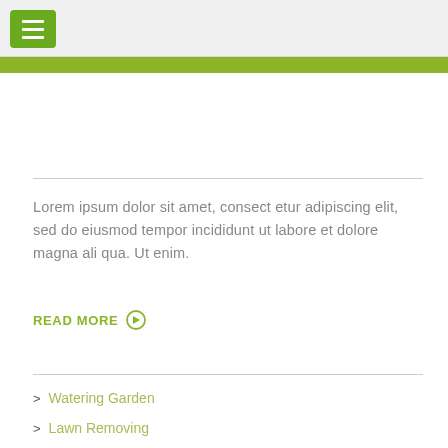Navigation header with hamburger menu button
Lorem ipsum dolor sit amet, consect etur adipiscing elit, sed do eiusmod tempor incididunt ut labore et dolore magna ali qua. Ut enim.
READ MORE
Watering Garden
Lawn Removing